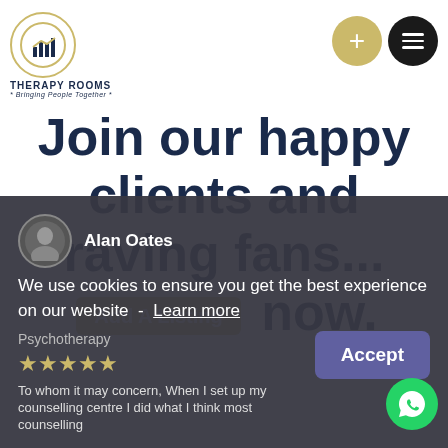THERAPY ROOMS * Bringing People Together *
Join our happy clients and raving fans... Add A Listing now.
[Figure (screenshot): White card area for review content]
Alan Oates
We use cookies to ensure you get the best experience on our website - Learn more
Psychotherapy
★★★★★
Accept
To whom it may concern, When I set up my counselling centre I did what I think most counselling